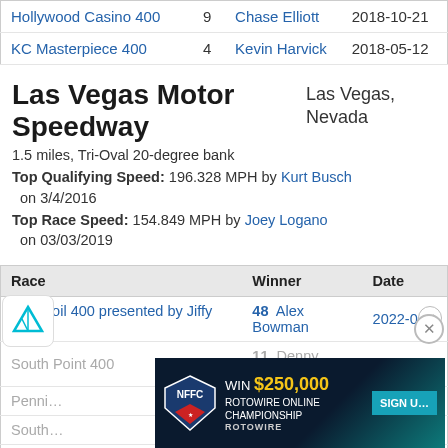| Race |  | Winner | Date |
| --- | --- | --- | --- |
| Hollywood Casino 400 | 9 | Chase Elliott | 2018-10-21 |
| KC Masterpiece 400 | 4 | Kevin Harvick | 2018-05-12 |
Las Vegas Motor Speedway
Las Vegas, Nevada
1.5 miles, Tri-Oval 20-degree bank
Top Qualifying Speed: 196.328 MPH by Kurt Busch on 3/4/2016
Top Race Speed: 154.849 MPH by Joey Logano on 03/03/2019
| Race | Winner | Date |
| --- | --- | --- |
| Pennzoil 400 presented by Jiffy Lube | 48  Alex Bowman | 2022-0... |
| South Point 400 | 11  Denny Hamlin | 2021-0... |
| Pennzoil 400... |  | 2021-0... |
| South Point 400 |  | 2020-0... |
| Pennzoil 400 | 22  Joey Logano | 2020-0... |